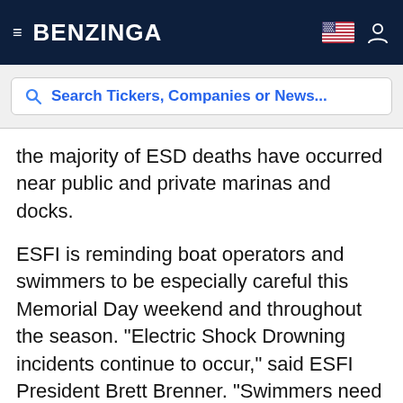BENZINGA
Search Tickers, Companies or News...
the majority of ESD deaths have occurred near public and private marinas and docks.
ESFI is reminding boat operators and swimmers to be especially careful this Memorial Day weekend and throughout the season. "Electric Shock Drowning incidents continue to occur," said ESFI President Brett Brenner. "Swimmers need to obey all signage, especially those prohibiting swimming in certain areas. Boat operators and marina owners should also take preventative measures, such as regular safety inspections and proper maintenance, to ensure their